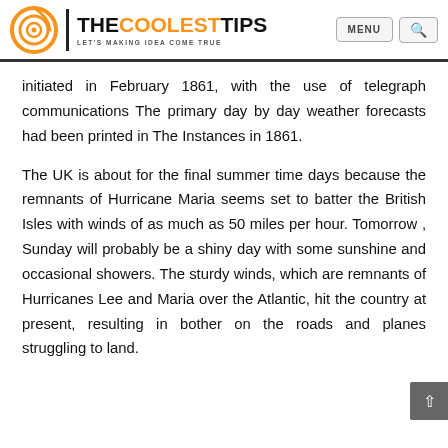THE COOLEST TIPS — LET'S MAKING IDEA COME TRUE
initiated in February 1861, with the use of telegraph communications The primary day by day weather forecasts had been printed in The Instances in 1861.
The UK is about for the final summer time days because the remnants of Hurricane Maria seems set to batter the British Isles with winds of as much as 50 miles per hour. Tomorrow , Sunday will probably be a shiny day with some sunshine and occasional showers. The sturdy winds, which are remnants of Hurricanes Lee and Maria over the Atlantic, hit the country at present, resulting in bother on the roads and planes struggling to land.